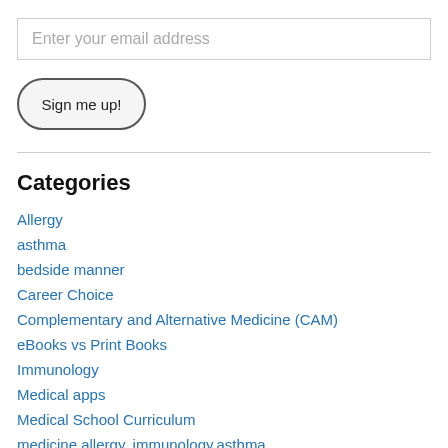Enter your email address
Sign me up!
Categories
Allergy
asthma
bedside manner
Career Choice
Complementary and Alternative Medicine (CAM)
eBooks vs Print Books
Immunology
Medical apps
Medical School Curriculum
medicine,allergy, immunology,asthma
Microbiology